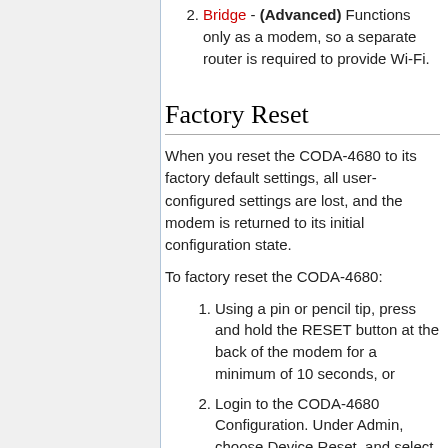2. Bridge - (Advanced) Functions only as a modem, so a separate router is required to provide Wi-Fi.
Factory Reset
When you reset the CODA-4680 to its factory default settings, all user-configured settings are lost, and the modem is returned to its initial configuration state.
To factory reset the CODA-4680:
1. Using a pin or pencil tip, press and hold the RESET button at the back of the modem for a minimum of 10 seconds, or
2. Login to the CODA-4680 Configuration. Under Admin, choose Device Reset, and select